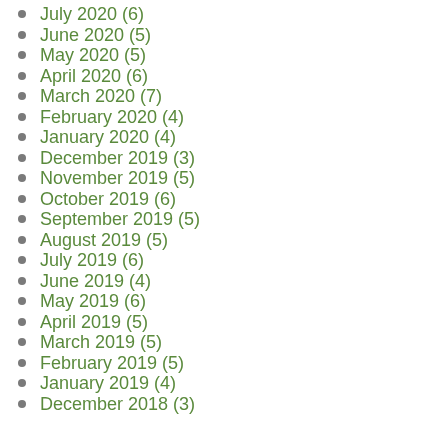July 2020 (6)
June 2020 (5)
May 2020 (5)
April 2020 (6)
March 2020 (7)
February 2020 (4)
January 2020 (4)
December 2019 (3)
November 2019 (5)
October 2019 (6)
September 2019 (5)
August 2019 (5)
July 2019 (6)
June 2019 (4)
May 2019 (6)
April 2019 (5)
March 2019 (5)
February 2019 (5)
January 2019 (4)
December 2018 (3)